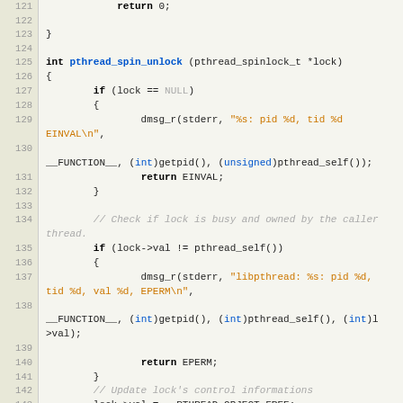[Figure (screenshot): C source code listing showing function pthread_spin_unlock, lines 121-147, with syntax highlighting. Line numbers in left gutter, keywords in bold, function name in blue, string literals in orange, comments in gray italic.]